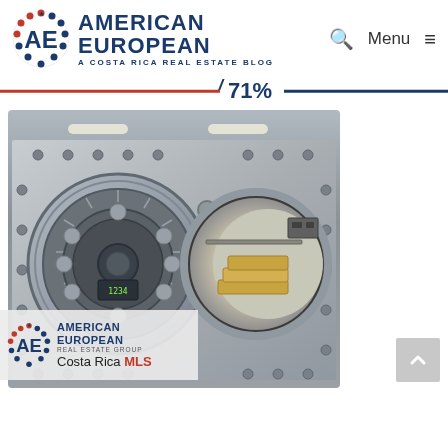American European — A Costa Rica Real Estate Blog | Menu
71%
[Figure (photo): Open bank vault door showing interior with stacked gold bars, metallic circular vault door mechanism on the left. Watermark overlay with American European Real Estate Group Costa Rica MLS logo in lower left.]